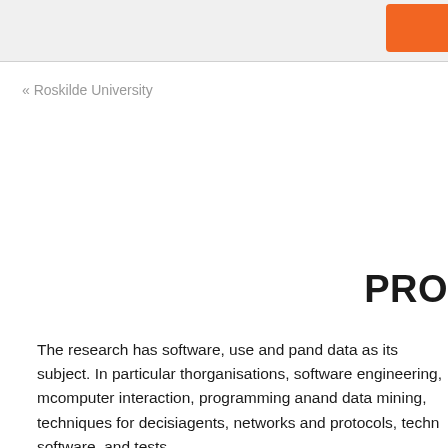« Roskilde University
PRO
The research has software, use and p... and data as its subject. In particular th... organisations, software engineering, m... computer interaction, programming an... and data mining, techniques for decisi... agents, networks and protocols, techn... software, and tests.
The research approach is fundamenta... mathematical research, experimental ... and methodologies, as well as analysi...